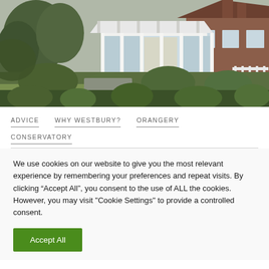[Figure (photo): Exterior photo of a brick house with a white conservatory/orangery extension in the background, with a lush garden in the foreground.]
ADVICE
WHY WESTBURY?
ORANGERY
CONSERVATORY
We use cookies on our website to give you the most relevant experience by remembering your preferences and repeat visits. By clicking “Accept All”, you consent to the use of ALL the cookies. However, you may visit "Cookie Settings" to provide a controlled consent.
Accept All